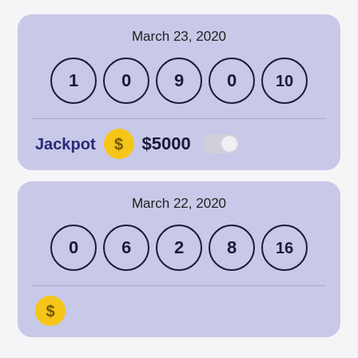March 23, 2020
[Figure (infographic): Five lottery balls showing numbers 1, 0, 9, 0, 10]
Jackpot  $5000
March 22, 2020
[Figure (infographic): Five lottery balls showing numbers 0, 6, 2, 8, 16]